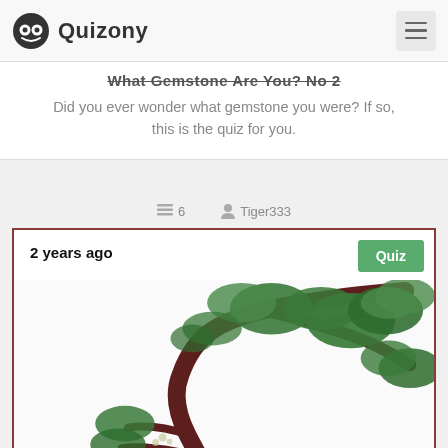Quizony
What Gemstone Are You? No 2
Did you ever wonder what gemstone you were? If so, this is the quiz for you.
6   Tiger333
2 years ago
Quiz
[Figure (illustration): Bonsai pine tree illustration with dark brown curved trunk and green foliage clusters, rendered in a stylized artistic style against a light background.]